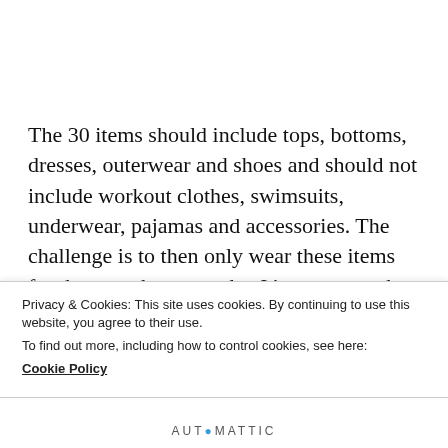The 30 items should include tops, bottoms, dresses, outerwear and shoes and should not include workout clothes, swimsuits, underwear, pajamas and accessories. The challenge is to then only wear these items for the next three months. It's pretty much like planning your outfits for the next three months all at once, which is going to save you
Privacy & Cookies: This site uses cookies. By continuing to use this website, you agree to their use.
To find out more, including how to control cookies, see here:
Cookie Policy
Close and accept
AUTOMATTIC